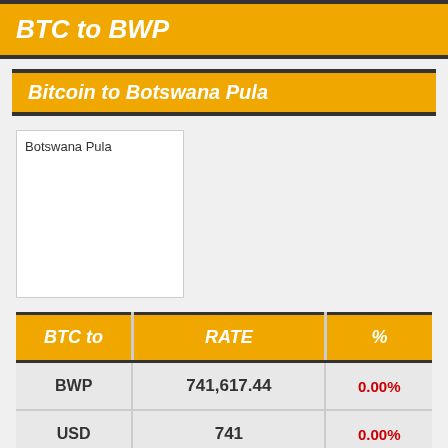BTC to BWP
Bitcoin to Botswana Pula
[Figure (illustration): Botswana Pula currency image placeholder]
| BTC to | RATE | % |
| --- | --- | --- |
| BWP | 741,617.44 | 0.00% |
| USD | 741 | 0.00% |
| EUR | 741 | 0.00% |